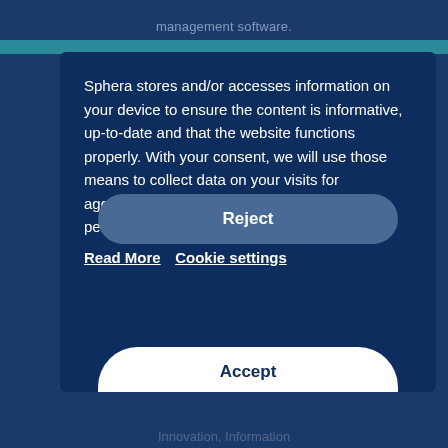management software.
Sphera stores and/or accesses information on your device to ensure the content is informative, up-to-date and that the website functions properly. With your consent, we will use those means to collect data on your visits for aggregated statistics to measure content performance and improve our service.
Read More   Cookie settings
Reject
Accept
Innovation, Information